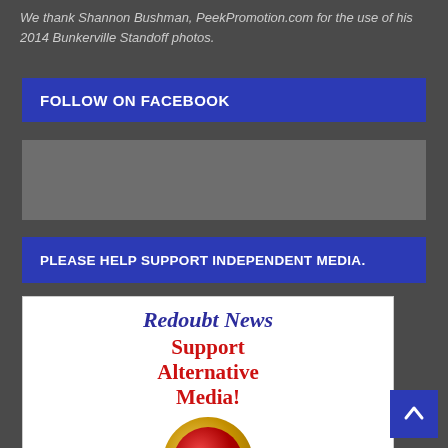We thank Shannon Bushman, PeekPromotion.com for the use of his 2014 Bunkerville Standoff photos.
FOLLOW ON FACEBOOK
[Figure (other): Gray placeholder box for Facebook widget]
PLEASE HELP SUPPORT INDEPENDENT MEDIA.
[Figure (other): Redoubt News donate banner with cursive blue title 'Redoubt News', red bold text 'Support Alternative Media!', and a red donate button with gold ring labeled 'DONATE NOW']